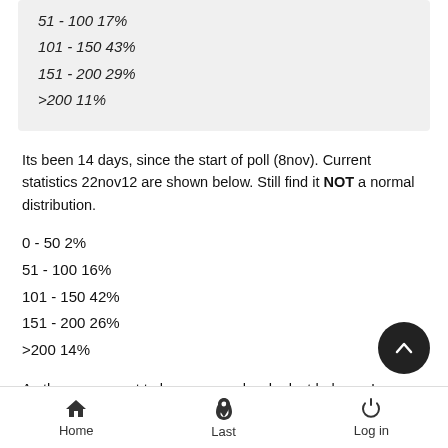51 - 100 17%
101 - 150 43%
151 - 200 29%
>200 11%
Its been 14 days, since the start of poll (8nov). Current statistics 22nov12 are shown below. Still find it NOT a normal distribution.
0 - 50 2%
51 - 100 16%
101 - 150 42%
151 - 200 26%
>200 14%
As there seem not to be new people who lost helpers, I guess we
Home   Last   Log in